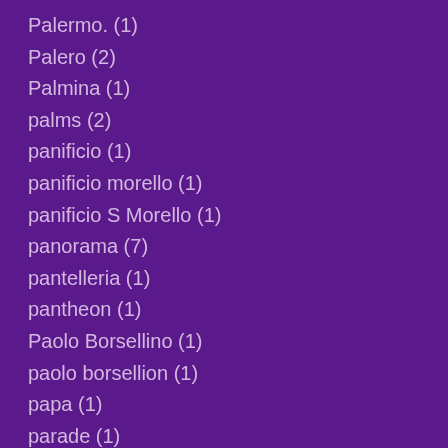Palermo. (1)
Palero (2)
Palmina (1)
palms (2)
panificio (1)
panificio morello (1)
panificio S Morello (1)
panorama (7)
pantelleria (1)
pantheon (1)
Paolo Borsellino (1)
paolo borsellion (1)
papa (1)
parade (1)
paralysis (1)
parco della favorita (1)
parents (1)
park (3)
parl (1)